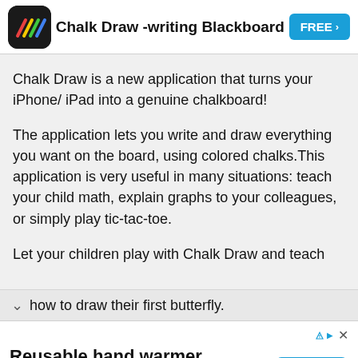Chalk Draw -writing Blackboard
Chalk Draw is a new application that turns your iPhone/ iPad into a genuine chalkboard!
The application lets you write and draw everything you want on the board, using colored chalks. This application is very useful in many situations: teach your child math, explain graphs to your colleagues, or simply play tic-tac-toe.
Let your children play with Chalk Draw and teach how to draw their first butterfly.
Reusable hand warmer
Suitable for outdoor activities, like hunting, camping, cycling, hiking, etc. Ocoopa Hand Warmer